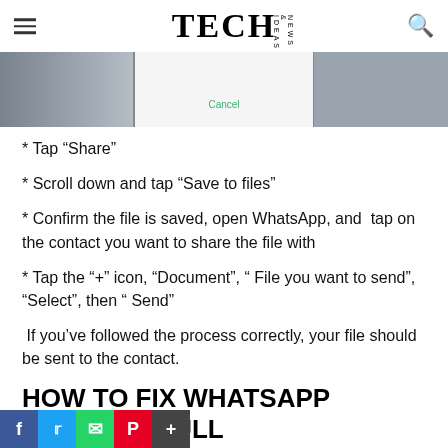TECH NEWS & IDEAS
[Figure (screenshot): Partial smartphone screen showing a white popup dialog with a green Cancel button, flanked by blurred background areas on left and right]
* Tap “Share”
* Scroll down and tap “Save to files”
* Confirm the file is saved, open WhatsApp, and  tap on the contact you want to share the file with
* Tap the “+” icon, “Document”, “ File you want to send”, “Select”, then “ Send”
If you’ve followed the process correctly, your file should be sent to the contact.
HOW TO FIX WHATSAPP STORAGE FULL